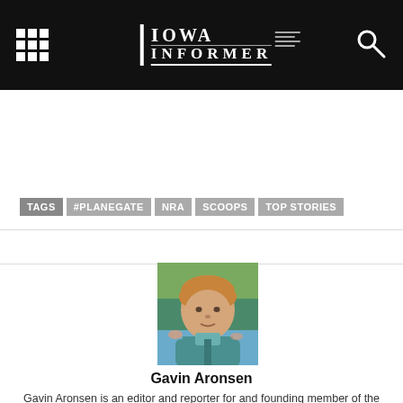Iowa Informer
TAGS | #PLANEGATE | NRA | SCOOPS | TOP STORIES
[Figure (photo): Portrait photo of Gavin Aronsen outdoors near water, wearing a teal life jacket]
Gavin Aronsen
Gavin Aronsen is an editor and reporter for and founding member of the Iowa Informer. He previously worked as a city reporter for the Ames